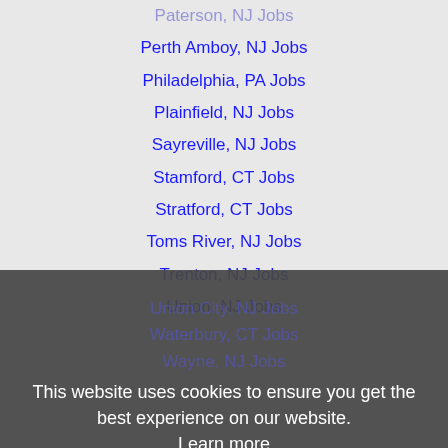Paterson, NJ Jobs
Perth Amboy, NJ Jobs
Philadelphia, PA Jobs
Plainfield, NJ Jobs
Sayreville, NJ Jobs
Stamford, CT Jobs
Stratford, CT Jobs
Toms River, NJ Jobs
Trenton, NJ Jobs
Union, NJ Jobs
Union City, NJ Jobs
Waterbury, CT Jobs
Wayne, NJ Jobs
West Babylon, NY Jobs
West Hartford, CT Jobs
West Haven, CT Jobs
West New York, NJ Jobs
West Orange, NJ Jobs
Westport, CT Jobs
This website uses cookies to ensure you get the best experience on our website. Learn more Got it!